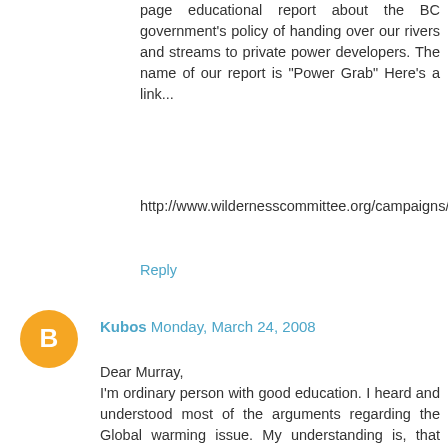page educational report about the BC government's policy of handing over our rivers and streams to private power developers. The name of our report is "Power Grab" Here's a link...
http://www.wildernesscommittee.org/campaigns/publiclands/rpps/reports/Vol27No02
Reply
Kubos Monday, March 24, 2008
Dear Murray,
I'm ordinary person with good education. I heard and understood most of the arguments regarding the Global warming issue. My understanding is, that scientist are not sure what is causing global warming and what will be the consequences, because they don't have yet sufficient understanding of such complicated systems like earth climate.
In my view, it is irresponsible to convert value of everything to tons of CO2 and in the name of global warming develop